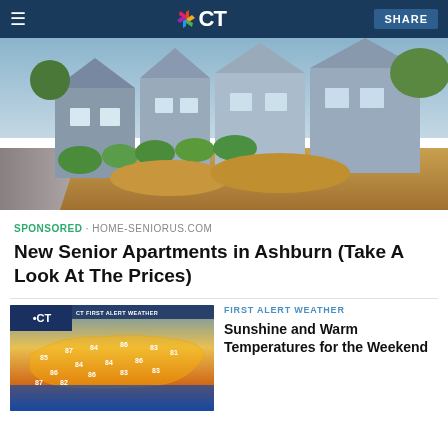NBC CT
[Figure (photo): Row of blue-grey suburban houses with green hedges and orange mulch landscaping along a path]
SPONSORED · HOME-SENIORUS.COM
New Senior Apartments in Ashburn (Take A Look At The Prices)
[Figure (photo): NBC CT First Alert Weather map showing temperature readings across Connecticut]
FIRST ALERT WEATHER
Sunshine and Warm Temperatures for the Weekend